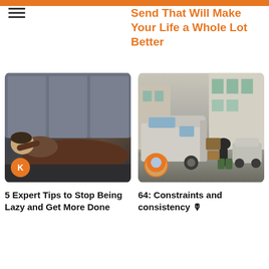Send That Will Make Your Life a Whole Lot Better
[Figure (photo): Person sleeping or lying down on a dark gray sofa/couch, wearing brown clothing, with an orange author badge showing letter K in the bottom-left corner]
[Figure (photo): Person unloading or loading items from the back of a white van on a cobblestone street in what appears to be a European city, with an avatar author badge in the bottom-left corner]
5 Expert Tips to Stop Being Lazy and Get More Done
64: Constraints and consistency 🎙